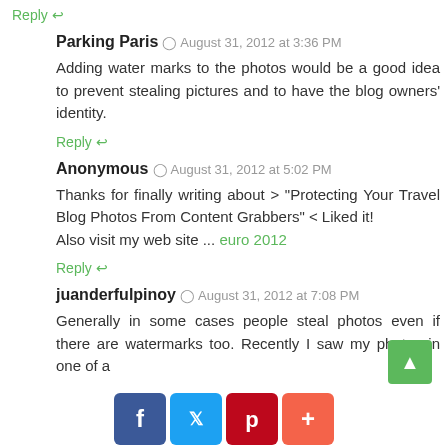Reply ↩
Parking Paris  ⊙ August 31, 2012 at 3:36 PM
Adding water marks to the photos would be a good idea to prevent stealing pictures and to have the blog owners' identity.
Reply ↩
Anonymous  ⊙ August 31, 2012 at 5:02 PM
Thanks for finally writing about > "Protecting Your Travel Blog Photos From Content Grabbers" < Liked it! Also visit my web site ... euro 2012
Reply ↩
juanderfulpinoy  ⊙ August 31, 2012 at 7:08 PM
Generally in some cases people steal photos even if there are watermarks too. Recently I saw my photos in one of a